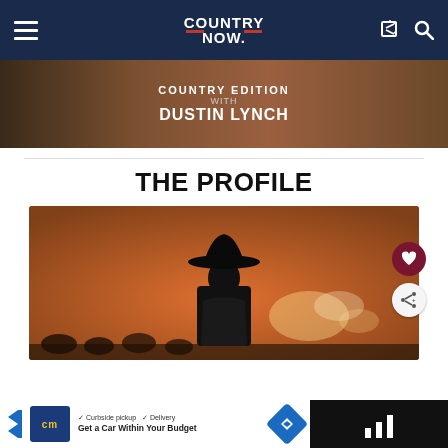COUNTRY NOW
[Figure (photo): Promotional banner for Country Edition with Dustin Lynch showing text overlay on dark background]
THE PROFILE
[Figure (photo): Silhouette of a person wearing a cowboy hat on stage with orange warm stage lighting and crowd in background]
[Figure (other): Advertisement bar at bottom: Car listing ad with CM logo, checkmarks for Curbside pickup and Delivery, text Get a Car Within Your Budget]